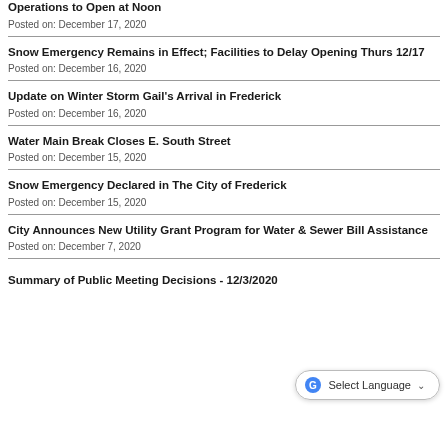Operations to Open at Noon
Posted on: December 17, 2020
Snow Emergency Remains in Effect; Facilities to Delay Opening Thurs 12/17
Posted on: December 16, 2020
Update on Winter Storm Gail's Arrival in Frederick
Posted on: December 16, 2020
Water Main Break Closes E. South Street
Posted on: December 15, 2020
Snow Emergency Declared in The City of Frederick
Posted on: December 15, 2020
City Announces New Utility Grant Program for Water & Sewer Bill Assistance
Posted on: December 7, 2020
Summary of Public Meeting Decisions - 12/3/2020